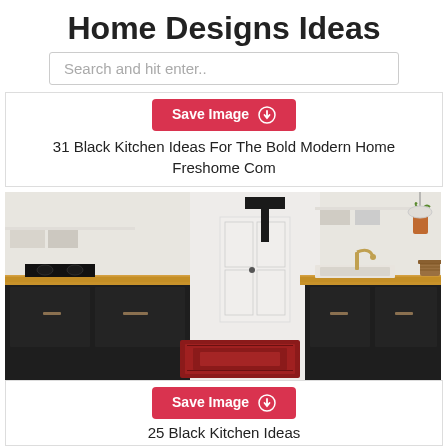Home Designs Ideas
Search and hit enter..
[Figure (screenshot): Save Image button (red) with upload icon, above card text]
31 Black Kitchen Ideas For The Bold Modern Home Freshome Com
[Figure (photo): Photo of a modern kitchen with black cabinets, wood butcher block countertops, white subway tile walls, white farmhouse sink, and a red patterned rug on the floor. A large black letter T is on the wall.]
[Figure (screenshot): Save Image button (red) with upload icon]
25 Black Kitchen Ideas